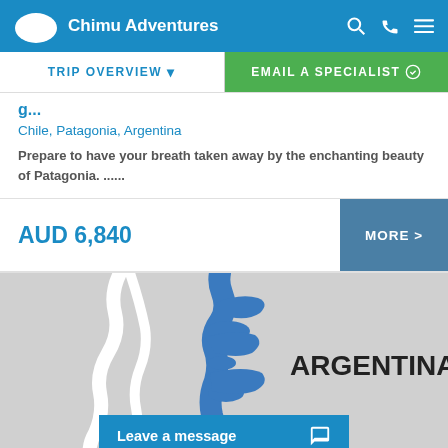Chimu Adventures
TRIP OVERVIEW ▾   EMAIL A SPECIALIST ⊙
Chile, Patagonia, Argentina
Prepare to have your breath taken away by the enchanting beauty of Patagonia. ......
AUD 6,840
MORE >
[Figure (map): Map showing Argentina region with blue waterways/lakes on grey background, with ARGENTINA label]
Leave a message